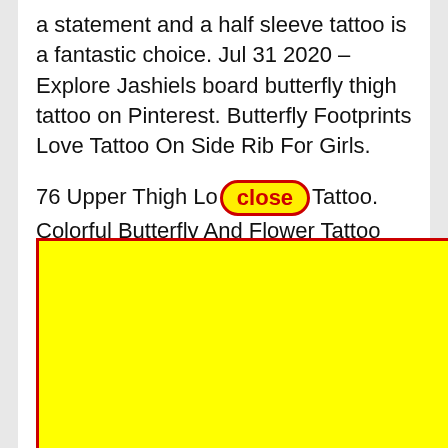a statement and a half sleeve tattoo is a fantastic choice. Jul 31 2020 – Explore Jashiels board butterfly thigh tattoo on Pinterest. Butterfly Footprints Love Tattoo On Side Rib For Girls.
76 Upper Thigh Lo[close]Tattoo. Colorful Butterfly And Flower Tattoo On Right Back Sho[...]ttoo style[...] rece[...] more[...]ed by t[...]
[Figure (other): Large yellow rectangle with red border overlaying the text, acting as an advertisement or overlay block. A red-bordered 'close' button label appears above it.]
Bab[...] Lace[...] Ama[...]